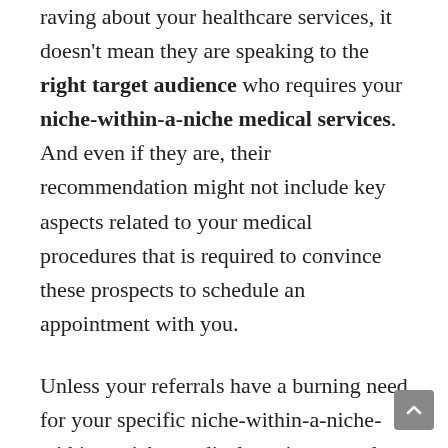raving about your healthcare services, it doesn't mean they are speaking to the right target audience who requires your niche-within-a-niche medical services. And even if they are, their recommendation might not include key aspects related to your medical procedures that is required to convince these prospects to schedule an appointment with you.
Unless your referrals have a burning need for your specific niche-within-a-niche-within-a-niche medical services exactly at the time of the referral and are convinced that you are the go-to medical expert, you